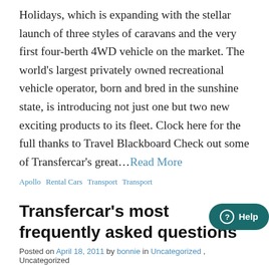Holidays, which is expanding with the stellar launch of three styles of caravans and the very first four-berth 4WD vehicle on the market. The world's largest privately owned recreational vehicle operator, born and bred in the sunshine state, is introducing not just one but two new exciting products to its fleet. Clock here for the full thanks to Travel Blackboard Check out some of Transfercar's great…Read More
Apollo   Rental Cars   Transport   Transport
Transfercar's most frequently asked questions
Posted on April 18, 2011 by bonnie in Uncategorized , Uncategorized
Q: How do I sign up with Transfercar...